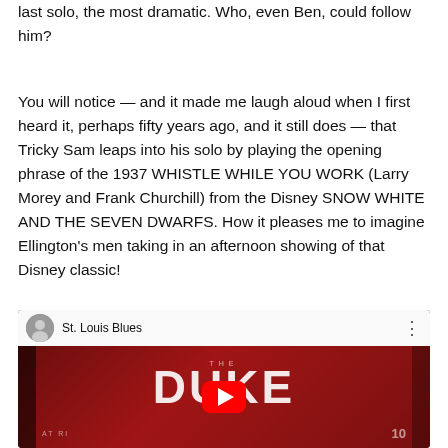last solo, the most dramatic.  Who, even Ben, could follow him?
You will notice — and it made me laugh aloud when I first heard it, perhaps fifty years ago, and it still does — that Tricky Sam leaps into his solo by playing the opening phrase of the 1937 WHISTLE WHILE YOU WORK (Larry Morey and Frank Churchill) from the Disney SNOW WHITE AND THE SEVEN DWARFS.  How it pleases me to imagine Ellington's men taking in an afternoon showing of that Disney classic!
[Figure (screenshot): Embedded YouTube video player showing 'St. Louis Blues' with a red and dark album cover thumbnail featuring the text 'THE DUKE' in large white letters. A red play button is centered on the thumbnail. The top bar shows a circular avatar photo and the title 'St. Louis Blues'.]